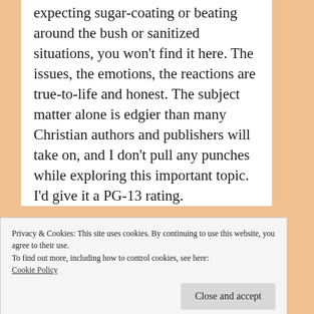expecting sugar-coating or beating around the bush or sanitized situations, you won't find it here. The issues, the emotions, the reactions are true-to-life and honest. The subject matter alone is edgier than many Christian authors and publishers will take on, and I don't pull any punches while exploring this important topic. I'd give it a PG-13 rating.
Privacy & Cookies: This site uses cookies. By continuing to use this website, you agree to their use.
To find out more, including how to control cookies, see here: Cookie Policy
Close and accept
goal is to tell it like it is. There are two